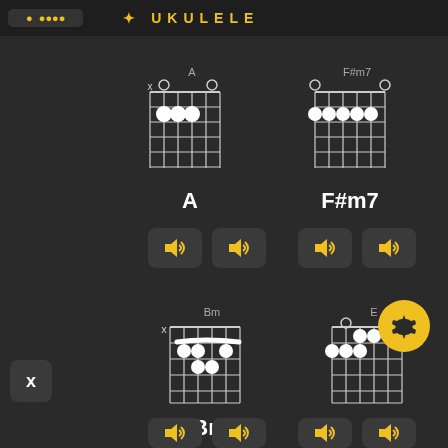UKULELE
[Figure (illustration): Guitar chord diagram for A chord - fretboard grid with dots on 2nd fret strings 2,3,4, open strings 1,5, muted string 6]
A
[Figure (illustration): Guitar chord diagram for F#m7 chord - fretboard grid with dots on 2nd fret strings 1-5, open strings 1 and 6]
F#m7
[Figure (illustration): Sound buttons for chord A - two speaker/volume icons]
[Figure (illustration): Sound buttons for chord F#m7 - two speaker/volume icons]
[Figure (illustration): Guitar chord diagram for Bm chord - fretboard grid with barre on 2nd fret and additional finger positions]
Bm
[Figure (illustration): Guitar chord diagram for E chord - fretboard grid with dots on 1st and 2nd frets, open strings]
E
[Figure (illustration): Settings gear button - yellow circle with gear icon]
[Figure (illustration): Sound buttons at bottom for Bm and E chords - partially visible]